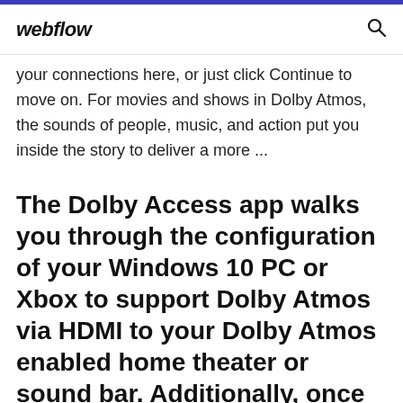webflow
your connections here, or just click Continue to move on. For movies and shows in Dolby Atmos, the sounds of people, music, and action put you inside the story to deliver a more ...
The Dolby Access app walks you through the configuration of your Windows 10 PC or Xbox to support Dolby Atmos via HDMI to your Dolby Atmos enabled home theater or sound bar. Additionally, once Dolby Atmos for Headphones is enabled